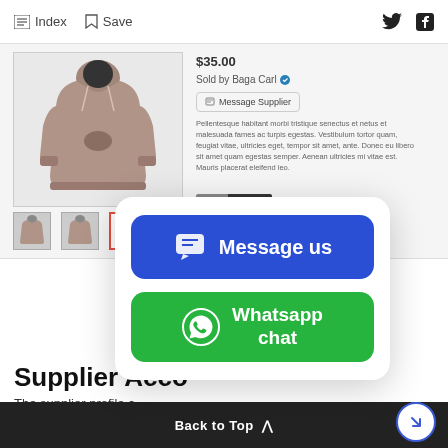Index  Save  [Twitter] [Facebook]
[Figure (screenshot): E-commerce product page showing a grey hoodie with price $35.00, sold by Baga Carl (verified), Message Supplier button, and product description text. Thumbnail images shown below main product image.]
[Figure (screenshot): Popup overlay card with two chat buttons: blue 'Message us' button with chat icon, and green 'Whatsapp chat' button with WhatsApp icon.]
Supplier Acco
The supplier profile c
information about the suppliers. After th
Back to Top ^